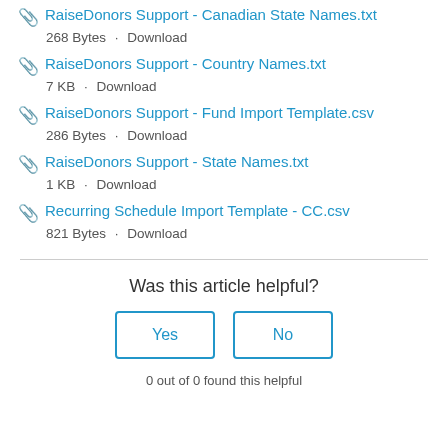RaiseDonors Support - Canadian State Names.txt
268 Bytes · Download
RaiseDonors Support - Country Names.txt
7 KB · Download
RaiseDonors Support - Fund Import Template.csv
286 Bytes · Download
RaiseDonors Support - State Names.txt
1 KB · Download
Recurring Schedule Import Template - CC.csv
821 Bytes · Download
Was this article helpful?
Yes
No
0 out of 0 found this helpful